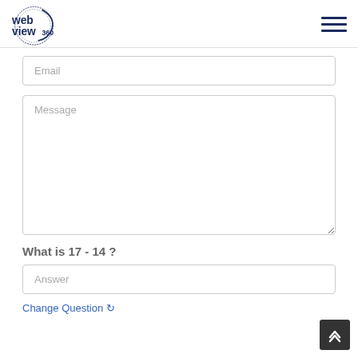WebView360 logo and navigation menu
Email
Message
What is 17 - 14 ?
Answer
Change Question